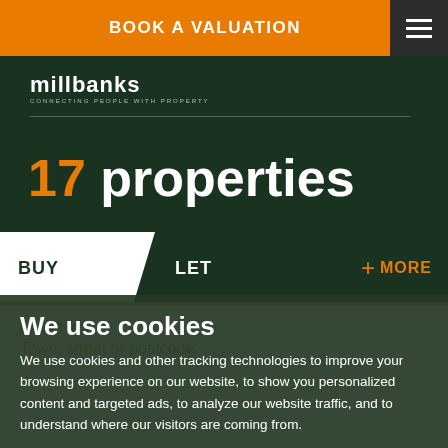BOOK A VALUATION
[Figure (logo): Millbanks logo with tagline 'connecting people with property']
17 properties
BUY   LET   + MORE
LOCATION
Town, street or postcode
We use cookies
We use cookies and other tracking technologies to improve your browsing experience on our website, to show you personalized content and targeted ads, to analyze our website traffic, and to understand where our visitors are coming from.